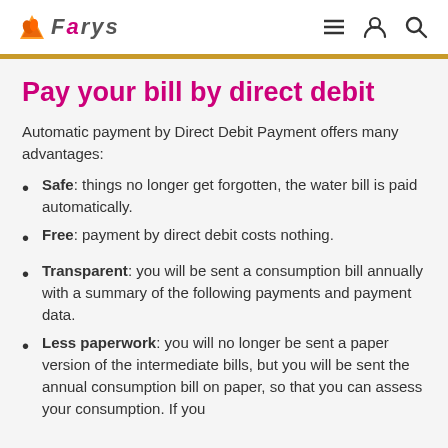FARYS
Pay your bill by direct debit
Automatic payment by Direct Debit Payment offers many advantages:
Safe: things no longer get forgotten, the water bill is paid automatically.
Free: payment by direct debit costs nothing.
Transparent: you will be sent a consumption bill annually with a summary of the following payments and payment data.
Less paperwork: you will no longer be sent a paper version of the intermediate bills, but you will be sent the annual consumption bill on paper, so that you can assess your consumption. If you